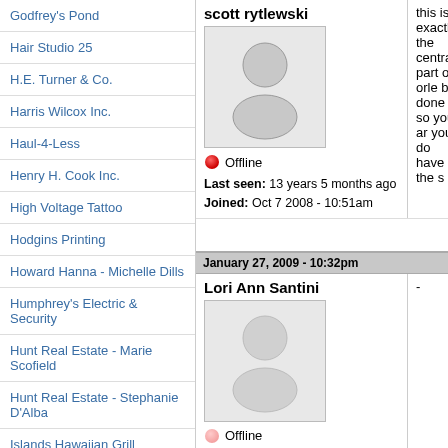Godfrey's Pond
Hair Studio 25
H.E. Turner & Co.
Harris Wilcox Inc.
Haul-4-Less
Henry H. Cook Inc.
High Voltage Tattoo
Hodgins Printing
Howard Hanna - Michelle Dills
Humphrey's Electric & Security
Hunt Real Estate - Marie Scofield
Hunt Real Estate - Stephanie D'Alba
Islands Hawaiian Grill
Jam at the Ridge
J. Leonard McAndrew
Jagged Edges Salon
scott rytlewski
Offline
Last seen: 13 years 5 months ago
Joined: Oct 7 2008 - 10:51am
this is exactlly the central part of orle be done so you ar you do have the s
January 27, 2009 - 10:32pm
Lori Ann Santini
-
Offline